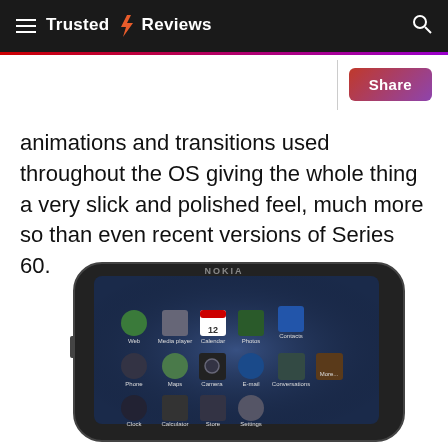Trusted Reviews
animations and transitions used throughout the OS giving the whole thing a very slick and polished feel, much more so than even recent versions of Series 60.
[Figure (photo): Nokia N900 smartphone shown in landscape orientation, displaying home screen with app icons including Web, Media Player, Calendar, Photos, Contacts, Maps, Camera, E-mail, Conversations, Phone, Store, Settings, More..., Clock, and Calculator.]